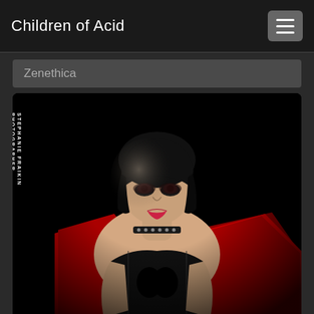Children of Acid
Zenethica
[Figure (photo): A dark, moody portrait photograph by Stephanie Fraikin Photographer. A woman with short dark hair, dramatic makeup, wearing a black corset and a red garment draped over her shoulders, and a studded choker necklace. The background is nearly all black with dramatic low-key lighting highlighting her face and bare shoulders.]